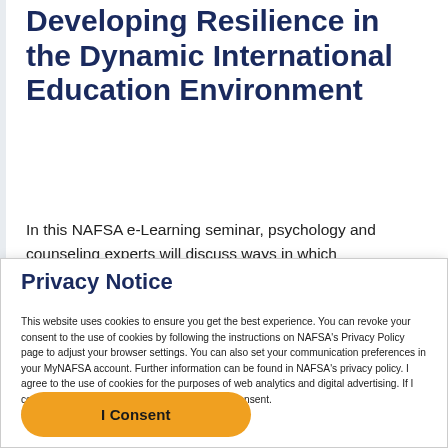Developing Resilience in the Dynamic International Education Environment
In this NAFSA e-Learning seminar, psychology and counseling experts will discuss ways in which professionals can increase their resilience to cope with the dynamic nature of the field. Participants will
Privacy Notice
This website uses cookies to ensure you get the best experience. You can revoke your consent to the use of cookies by following the instructions on NAFSA’s Privacy Policy page to adjust your browser settings. You can also set your communication preferences in your MyNAFSA account. Further information can be found in NAFSA’s privacy policy. I agree to the use of cookies for the purposes of web analytics and digital advertising. If I continue to use this website, this is considered consent. Learn more about NAFSA's privacy policy
I Consent